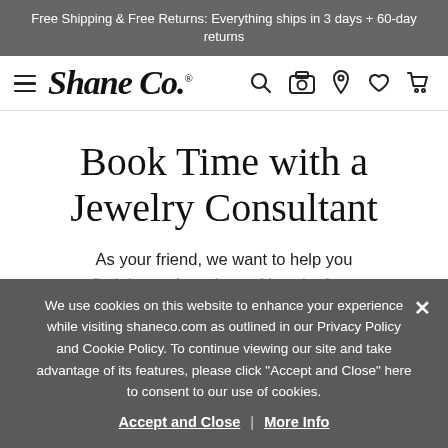Free Shipping & Free Returns: Everything ships in 3 days + 60-day returns
[Figure (logo): Shane Co. logo with hamburger menu and navigation icons (search, camera, location, heart, cart)]
Book Time with a Jewelry Consultant
As your friend, we want to help you find the perfect piece of jewelry for...
We use cookies on this website to enhance your experience while visiting shaneco.com as outlined in our Privacy Policy and Cookie Policy. To continue viewing our site and take advantage of its features, please click "Accept and Close" here to consent to our use of cookies. Accept and Close | More Info